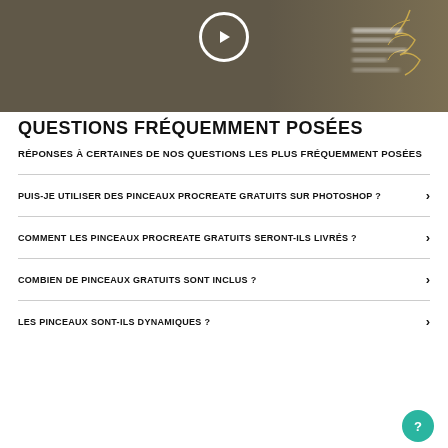[Figure (screenshot): Video thumbnail showing a darkened/olive-toned background with a white circular play button at the top center. On the right side there are illustrated botanical leaves and some blurred text labels.]
QUESTIONS FRÉQUEMMENT POSÉES
RÉPONSES À CERTAINES DE NOS QUESTIONS LES PLUS FRÉQUEMMENT POSÉES
PUIS-JE UTILISER DES PINCEAUX PROCREATE GRATUITS SUR PHOTOSHOP ?
COMMENT LES PINCEAUX PROCREATE GRATUITS SERONT-ILS LIVRÉS ?
COMBIEN DE PINCEAUX GRATUITS SONT INCLUS ?
LES PINCEAUX SONT-ILS DYNAMIQUES ?